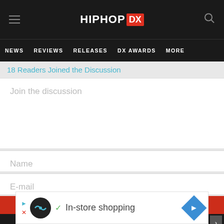HipHopDX — NEWS | REVIEWS | RELEASES | DX AWARDS | MORE
18 Readers Joined the Discussion
Join the discussion
Name
E-mail
[Figure (screenshot): Red submit button bar at bottom of form]
[Figure (screenshot): Advertisement banner: In-store shopping with play, close, circle logo, checkmark, and diamond navigation icons]